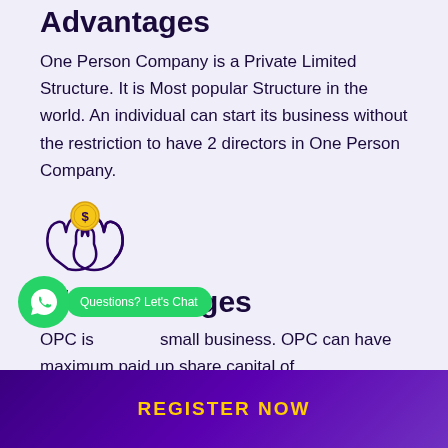Advantages
One Person Company is a Private Limited Structure. It is Most popular Structure in the world. An individual can start its business without the restriction to have 2 directors in One Person Company.
[Figure (illustration): Icon of two hands holding a coin with a dollar sign, representing savings or financial benefit]
Disadvantages
OPC is for small business. OPC can have maximum paid up share capital of
REGISTER NOW